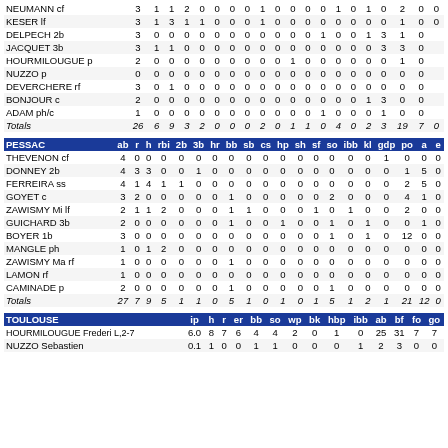|  | ab | r | h | rbi | 2b | 3b | hr | bb | sb | cs | hp | sh | sf | so | ibb | kl | gdp | po | a | e |
| --- | --- | --- | --- | --- | --- | --- | --- | --- | --- | --- | --- | --- | --- | --- | --- | --- | --- | --- | --- | --- |
| NEUMANN cf | 3 | 1 | 1 | 2 | 0 | 0 | 0 | 0 | 1 | 0 | 0 | 0 | 0 | 1 | 0 | 1 | 0 | 2 | 0 | 0 |
| KESER lf | 3 | 1 | 3 | 1 | 1 | 0 | 0 | 0 | 1 | 0 | 0 | 0 | 0 | 0 | 0 | 0 | 0 | 1 | 0 | 0 |
| DELPECH 2b | 3 | 0 | 0 | 0 | 0 | 0 | 0 | 0 | 0 | 0 | 0 | 0 | 1 | 0 | 0 | 1 | 3 | 1 | 0 |
| JACQUET 3b | 3 | 1 | 1 | 0 | 0 | 0 | 0 | 0 | 0 | 0 | 0 | 0 | 0 | 0 | 0 | 0 | 3 | 3 | 0 |
| HOURMILOUGUE p | 2 | 0 | 0 | 0 | 0 | 0 | 0 | 0 | 0 | 0 | 1 | 0 | 0 | 0 | 0 | 0 | 0 | 1 | 0 |
| NUZZO p | 0 | 0 | 0 | 0 | 0 | 0 | 0 | 0 | 0 | 0 | 0 | 0 | 0 | 0 | 0 | 0 | 0 | 0 | 0 |
| DEVERCHERE rf | 3 | 0 | 1 | 0 | 0 | 0 | 0 | 0 | 0 | 0 | 0 | 0 | 0 | 0 | 0 | 0 | 0 | 0 | 0 |
| BONJOUR c | 2 | 0 | 0 | 0 | 0 | 0 | 0 | 0 | 0 | 0 | 0 | 0 | 0 | 0 | 0 | 1 | 3 | 0 | 0 |
| ADAM ph/c | 1 | 0 | 0 | 0 | 0 | 0 | 0 | 0 | 0 | 0 | 0 | 0 | 1 | 0 | 0 | 0 | 1 | 0 | 0 |
| Totals | 26 | 6 | 9 | 3 | 2 | 0 | 0 | 0 | 2 | 0 | 1 | 1 | 0 | 4 | 0 | 2 | 3 | 19 | 7 | 0 |
| PESSAC | ab | r | h | rbi | 2b | 3b | hr | bb | sb | cs | hp | sh | sf | so | ibb | kl | gdp | po | a | e |
| --- | --- | --- | --- | --- | --- | --- | --- | --- | --- | --- | --- | --- | --- | --- | --- | --- | --- | --- | --- | --- |
| THEVENON cf | 4 | 0 | 0 | 0 | 0 | 0 | 0 | 0 | 0 | 0 | 0 | 0 | 0 | 0 | 0 | 0 | 1 | 0 | 0 | 0 |
| DONNEY 2b | 4 | 3 | 3 | 0 | 0 | 1 | 0 | 0 | 0 | 0 | 0 | 0 | 0 | 0 | 0 | 0 | 0 | 1 | 5 | 0 |
| FERREIRA ss | 4 | 1 | 4 | 1 | 1 | 0 | 0 | 0 | 0 | 0 | 0 | 0 | 0 | 0 | 0 | 0 | 0 | 2 | 5 | 0 |
| GOYET c | 3 | 2 | 0 | 0 | 0 | 0 | 0 | 1 | 0 | 0 | 0 | 0 | 0 | 2 | 0 | 0 | 0 | 4 | 1 | 0 |
| ZAWISMY Mi lf | 2 | 1 | 1 | 2 | 0 | 0 | 0 | 1 | 1 | 0 | 0 | 0 | 1 | 0 | 1 | 0 | 0 | 2 | 0 | 0 |
| GUICHARD 3b | 2 | 0 | 0 | 0 | 0 | 0 | 0 | 1 | 0 | 0 | 1 | 0 | 0 | 1 | 0 | 1 | 0 | 0 | 1 | 0 |
| BOYER 1b | 3 | 0 | 0 | 0 | 0 | 0 | 0 | 0 | 0 | 0 | 0 | 0 | 0 | 1 | 0 | 1 | 0 | 12 | 0 | 0 |
| MANGLE ph | 1 | 0 | 1 | 2 | 0 | 0 | 0 | 0 | 0 | 0 | 0 | 0 | 0 | 0 | 0 | 0 | 0 | 0 | 0 | 0 |
| ZAWISMY Ma rf | 1 | 0 | 0 | 0 | 0 | 0 | 0 | 1 | 0 | 0 | 0 | 0 | 0 | 0 | 0 | 0 | 0 | 0 | 0 | 0 |
| LAMON rf | 1 | 0 | 0 | 0 | 0 | 0 | 0 | 0 | 0 | 0 | 0 | 0 | 0 | 0 | 0 | 0 | 0 | 0 | 0 | 0 |
| CAMINADE p | 2 | 0 | 0 | 0 | 0 | 0 | 0 | 1 | 0 | 0 | 0 | 0 | 0 | 1 | 0 | 0 | 0 | 0 | 0 | 0 |
| Totals | 27 | 7 | 9 | 5 | 1 | 1 | 0 | 5 | 1 | 0 | 1 | 0 | 1 | 5 | 1 | 2 | 1 | 21 | 12 | 0 |
| TOULOUSE | ip | h | r | er | bb | so | wp | bk | hbp | ibb | ab | bf | fo | go |
| --- | --- | --- | --- | --- | --- | --- | --- | --- | --- | --- | --- | --- | --- | --- |
| HOURMILOUGUE Frederi L,2-7 | 6.0 | 8 | 7 | 6 | 4 | 4 | 2 | 0 | 1 | 0 | 25 | 31 | 7 | 7 |
| NUZZO Sebastien | 0.1 | 1 | 0 | 0 | 1 | 1 | 0 | 0 | 0 | 1 | 2 | 3 | 0 | 0 |